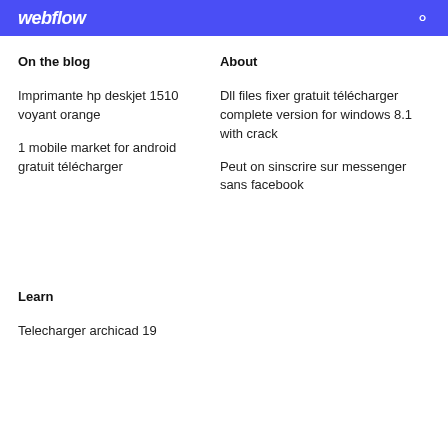webflow
On the blog
About
Imprimante hp deskjet 1510 voyant orange
1 mobile market for android gratuit télécharger
Dll files fixer gratuit télécharger complete version for windows 8.1 with crack
Peut on sinscrire sur messenger sans facebook
Learn
Telecharger archicad 19